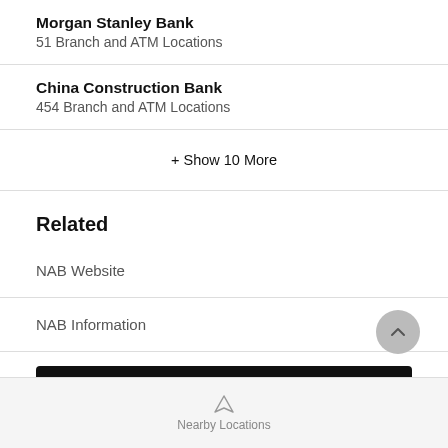Morgan Stanley Bank
51 Branch and ATM Locations
China Construction Bank
454 Branch and ATM Locations
+ Show 10 More
Related
NAB Website
NAB Information
Nearby NAB Locations
Nearby Locations